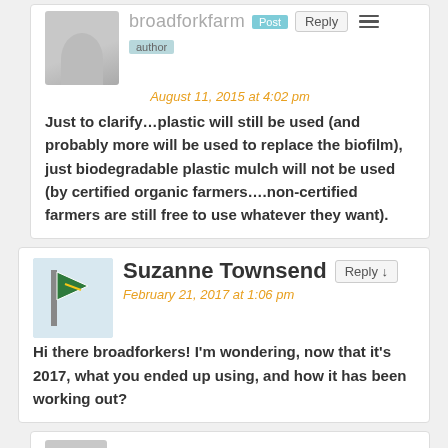broadforkfarm Post Reply author August 11, 2015 at 4:02 pm Just to clarify...plastic will still be used (and probably more will be used to replace the biofilm), just biodegradable plastic mulch will not be used (by certified organic farmers....non-certified farmers are still free to use whatever they want).
Suzanne Townsend Reply February 21, 2017 at 1:06 pm Hi there broadforkers! I'm wondering, now that it's 2017, what you ended up using, and how it has been working out?
broadforkfarm Post Reply